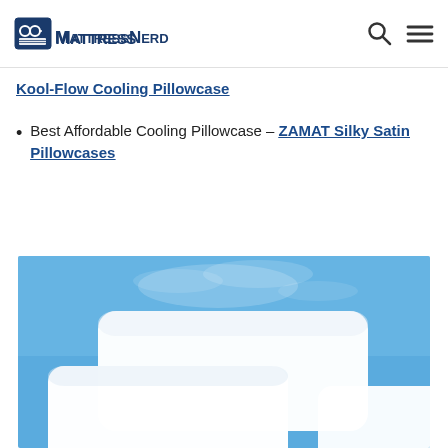MattressNerd
Kool-Flow Cooling Pillowcase
Best Affordable Cooling Pillowcase – ZAMAT Silky Satin Pillowcases
[Figure (photo): Two white pillows against a blue background with cool mist/smoke effect rising above them]